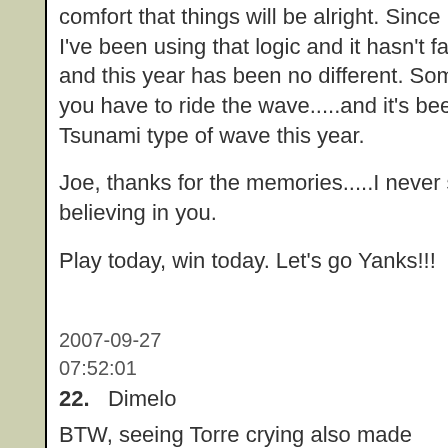comfort that things will be alright. Since 1996, I've been using that logic and it hasn't failed me and this year has been no different. Sometimes you have to ride the wave.....and it's been a Tsunami type of wave this year.
Joe, thanks for the memories.....I never stopped believing in you.
Play today, win today. Let's go Yanks!!!
2007-09-27
07:52:01
22.   Dimelo
BTW, seeing Torre crying also made